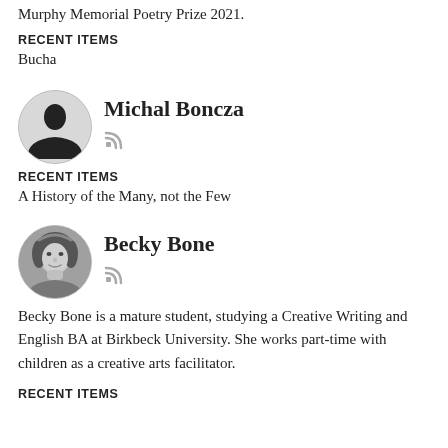Murphy Memorial Poetry Prize 2021.
RECENT ITEMS
Bucha
[Figure (illustration): Circular avatar placeholder with silhouette of a person (black on white/grey background) and a small RSS feed icon below-right]
Michal Boncza
RECENT ITEMS
A History of the Many, not the Few
[Figure (photo): Circular avatar photo of Becky Bone, a woman with short hair, black and white photo, with a small RSS feed icon below-right]
Becky Bone
Becky Bone is a mature student, studying a Creative Writing and English BA at Birkbeck University. She works part-time with children as a creative arts facilitator.
RECENT ITEMS